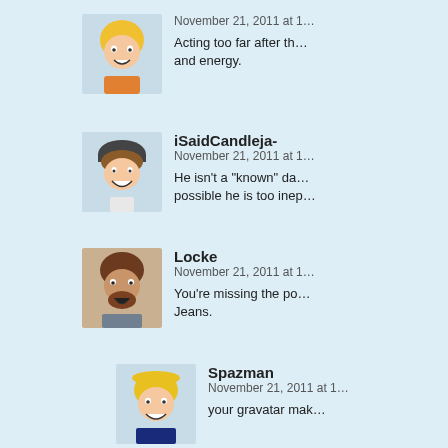[Avatar] November 21, 2011 at 1... Acting too far after the... and energy.
iSaidCandleja- November 21, 2011 at 1... He isn't a "known" da... possible he is too inep...
Locke November 21, 2011 at 1... You're missing the po... Jeans.
Spazman November 21, 2011 at 1... your gravatar mak...
NF November 21, 2011 at 12:46 am | #